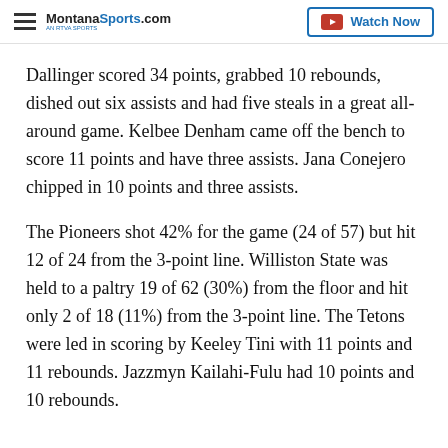MontanaSports.com | Watch Now
Dallinger scored 34 points, grabbed 10 rebounds, dished out six assists and had five steals in a great all-around game. Kelbee Denham came off the bench to score 11 points and have three assists. Jana Conejero chipped in 10 points and three assists.
The Pioneers shot 42% for the game (24 of 57) but hit 12 of 24 from the 3-point line. Williston State was held to a paltry 19 of 62 (30%) from the floor and hit only 2 of 18 (11%) from the 3-point line. The Tetons were led in scoring by Keeley Tini with 11 points and 11 rebounds. Jazzmyn Kailahi-Fulu had 10 points and 10 rebounds.